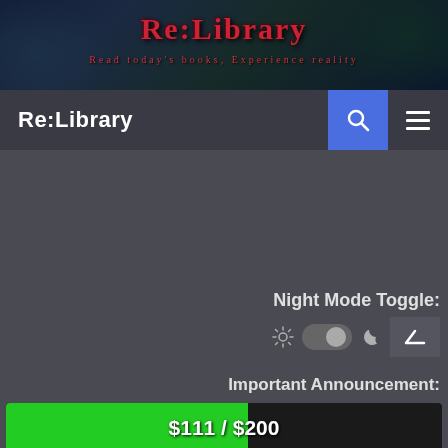[Figure (illustration): Re:Library fantasy website banner with dark blue/green background, magical library scene, with red ornate 'Re:Library' logo text and decorative subtitle text in red]
Re:Library
Night Mode Toggle:
Important Announcement:
[Figure (infographic): Progress bar showing $111 / $200 funding goal with green fill at roughly 55%]
- Fan Arts, Emotes... and Mascots?
- Big Changes Coming to Patreon